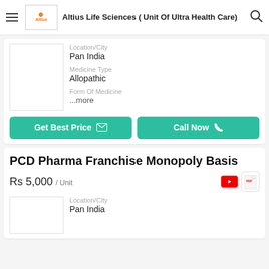Altius Life Sciences ( Unit Of Ultra Health Care)
Location/City
Pan India
Medicine Type
Allopathic
Form Of Medicine
...more
Get Best Price
Call Now
PCD Pharma Franchise Monopoly Basis
Rs 5,000 / Unit
Location/City
Pan India